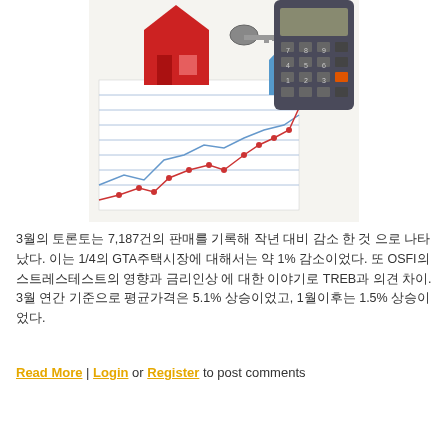[Figure (photo): Photo of a red house model, keys with a blue house keychain, a calculator, and financial charts with line graphs showing upward trends, representing real estate and mortgage market.]
3월의 토론토는 7,187건의 판매를 기록해 작년 대비 감소 한 것 으로 나타났다. 이는 1/4의 GTA주택시장에 대해서는 약 1% 감소이었다. 또 OSFI의 스트레스테스트의 영향과 금리인상 에 대한 이야기로 TREB과 의견 차이. 3월 연간 기준으로 평균가격은 5.1% 상승이었고, 1월이후는 1.5% 상승이었다.
Read More | Login or Register to post comments